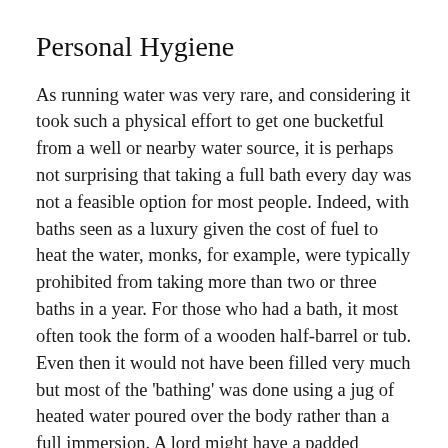Personal Hygiene
As running water was very rare, and considering it took such a physical effort to get one bucketful from a well or nearby water source, it is perhaps not surprising that taking a full bath every day was not a feasible option for most people. Indeed, with baths seen as a luxury given the cost of fuel to heat the water, monks, for example, were typically prohibited from taking more than two or three baths in a year. For those who had a bath, it most often took the form of a wooden half-barrel or tub. Even then it would not have been filled very much but most of the 'bathing' was done using a jug of heated water poured over the body rather than a full immersion. A lord might have a padded